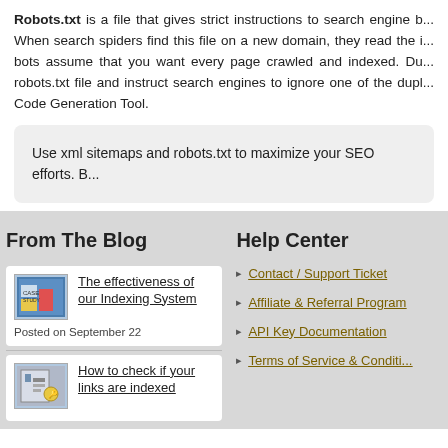Robots.txt is a file that gives strict instructions to search engine b... When search spiders find this file on a new domain, they read the i... bots assume that you want every page crawled and indexed. Du... robots.txt file and instruct search engines to ignore one of the dupl... Code Generation Tool.
Use xml sitemaps and robots.txt to maximize your SEO efforts. B...
From The Blog
The effectiveness of our Indexing System
Posted on September 22
How to check if your links are indexed
Help Center
Contact / Support Ticket
Affiliate & Referral Program
API Key Documentation
Terms of Service & Conditi...